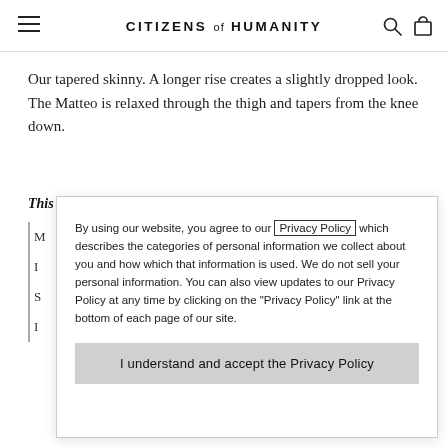CITIZENS of HUMANITY
Our tapered skinny. A longer rise creates a slightly dropped look. The Matteo is relaxed through the thigh and tapers from the knee down.
This fit is true to size.
By using our website, you agree to our Privacy Policy which describes the categories of personal information we collect about you and how which that information is used. We do not sell your personal information. You can also view updates to our Privacy Policy at any time by clicking on the "Privacy Policy" link at the bottom of each page of our site.
I understand and accept the Privacy Policy